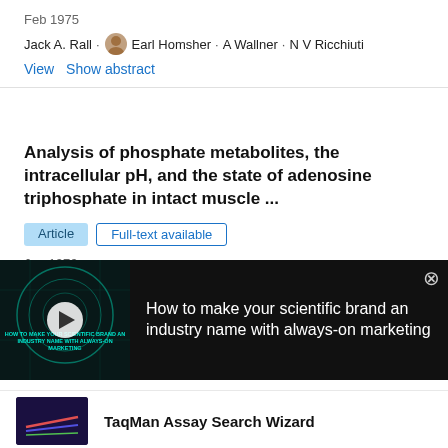Feb 1975
Jack A. Rall · [avatar] Earl Homsher · A Wallner · N V Ricchiuti
View    Show abstract
Analysis of phosphate metabolites, the intracellular pH, and the state of adenosine triphosphate in intact muscle ...
Article    Full-text available
Jun 1976
M Bárány · C. Tyler Burt · [avatar] Thomas Glonek
[Figure (screenshot): Video ad overlay with dark background showing 'HOW TO MAKE YOUR SCIENTIFIC BRAND AN INDUSTRY NAME WITH ALWAYS-ON MARKETING' with a play button, and text on the right: 'How to make your scientific brand an industry name with always-on marketing'. Close button (X) in top-right corner.]
[Figure (screenshot): Bottom advertisement: ThermoFisher Scientific logo with a small image thumbnail on the left and text 'TaqMan Assay Search Wizard' on the right.]